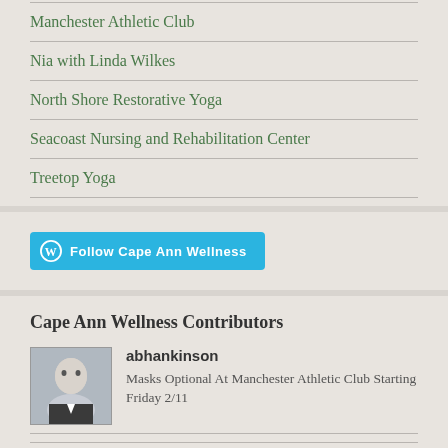Manchester Athletic Club
Nia with Linda Wilkes
North Shore Restorative Yoga
Seacoast Nursing and Rehabilitation Center
Treetop Yoga
Follow Cape Ann Wellness
Cape Ann Wellness Contributors
abhankinson
Masks Optional At Manchester Athletic Club Starting Friday 2/11
Level-up Your Living Room Workouts!
Atwater Spa at MAC – January Reiki Special